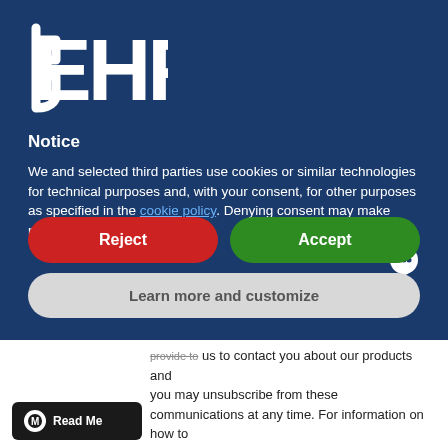[Figure (logo): EHF logo — white stylized letters E, H, F on dark blue background]
Notice
We and selected third parties use cookies or similar technologies for technical purposes and, with your consent, for other purposes as specified in the cookie policy. Denying consent may make related features unavailable.
Reject
Accept
Learn more and customize
provide to us to contact you about our products and you may unsubscribe from these communications at any time. For information on how to